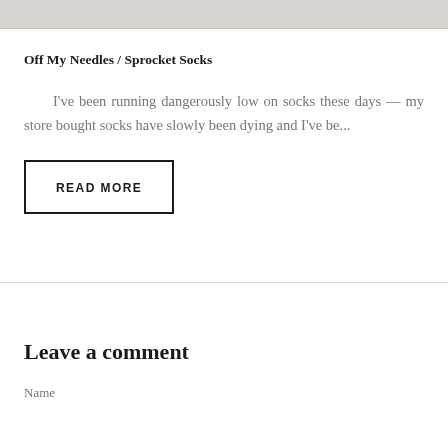[Figure (photo): Top portion of an image, appears to be a knitted or textured fabric surface, cropped at the top of the page]
Off My Needles / Sprocket Socks
I've been running dangerously low on socks these days — my store bought socks have slowly been dying and I've be...
READ MORE
Leave a comment
Name